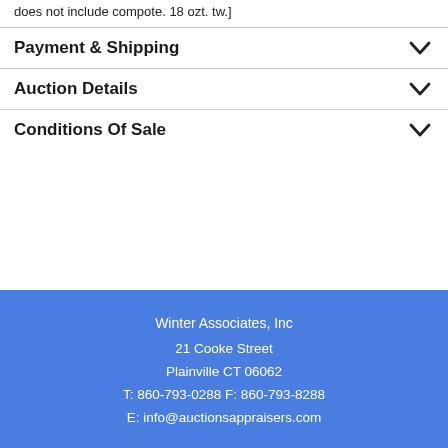does not include compote. 18 ozt. tw.]
Payment & Shipping
Auction Details
Conditions Of Sale
Winter Associates, Inc
21 Cooke Street
Plainville CT 06062
T: 860-793-0288 F: 860-793-8288
E: info@auctionsappraisers.com